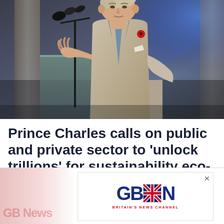[Figure (photo): Prince Charles in a grey suit with a red poppy, speaking at a podium with microphones, against a blue-lit background with columns]
Prince Charles calls on public and private sector to 'unlock trillions' for sustainability eco-drive
[Figure (logo): GB News logo with Union Jack flag, tagline 'Britain's News Channel', and GB News banner advertisement]